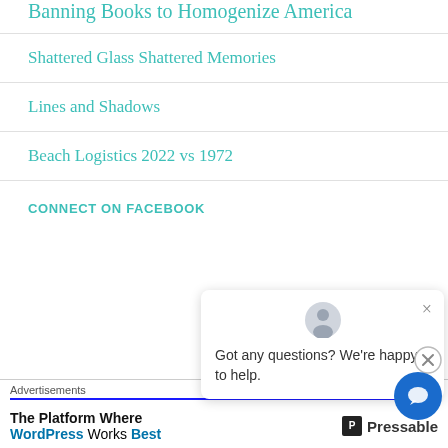Banning Books to Homogenize America
Shattered Glass Shattered Memories
Lines and Shadows
Beach Logistics 2022 vs 1972
CONNECT ON FACEBOOK
Got any questions? We're happy to help.
Advertisements
The Platform Where WordPress Works Best — Pressable